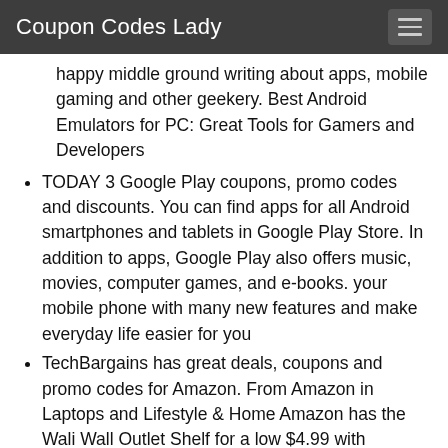Coupon Codes Lady
happy middle ground writing about apps, mobile gaming and other geekery. Best Android Emulators for PC: Great Tools for Gamers and Developers
TODAY 3 Google Play coupons, promo codes and discounts. You can find apps for all Android smartphones and tablets in Google Play Store. In addition to apps, Google Play also offers music, movies, computer games, and e-books. your mobile phone with many new features and make everyday life easier for you
TechBargains has great deals, coupons and promo codes for Amazon. From Amazon in Laptops and Lifestyle & Home Amazon has the Wali Wall Outlet Shelf for a low $4.99 with Coupon Code: "FFY2SFYQ" (Exp Soon). They sell everything from Books, Music, Games, Laptops, TVs, Electronics, Movies, Groceries